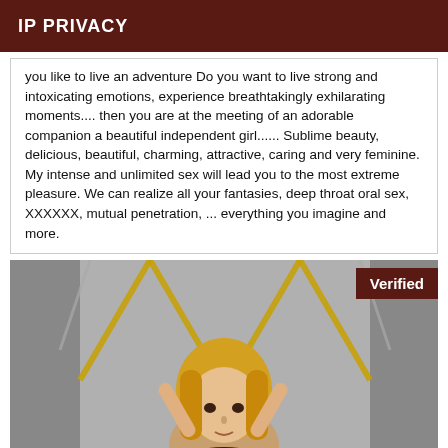IP PRIVACY
you like to live an adventure Do you want to live strong and intoxicating emotions, experience breathtakingly exhilarating moments.... then you are at the meeting of an adorable companion a beautiful independent girl...... Sublime beauty, delicious, beautiful, charming, attractive, caring and very feminine. My intense and unlimited sex will lead you to the most extreme pleasure. We can realize all your fantasies, deep throat oral sex, XXXXXX, mutual penetration, ... everything you imagine and more.
[Figure (photo): A blonde woman with chains/straps visible in the background, with a 'Verified' badge in the top right corner.]